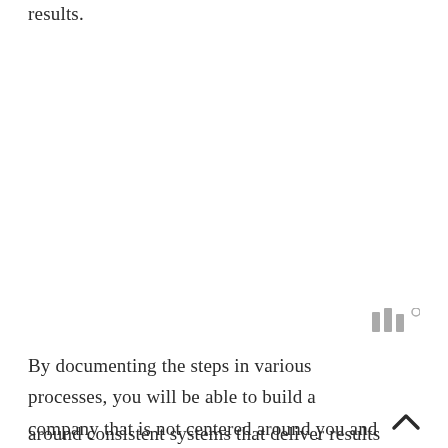results.
[Figure (logo): Small grey logo mark consisting of vertical bars with a small superscript circle]
By documenting the steps in various processes, you will be able to build a company that is not centered around you and is instead centered around consistent systems that deliver results on